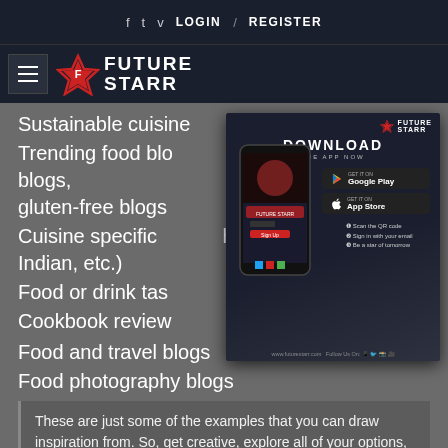f  t  v  LOGIN  /  REGISTER
[Figure (logo): FutureStarr logo with hamburger menu icon on dark navy background]
Sustainable cuisine
Trending food blogs, vegan blogs, vegetarian blogs, gluten-free blogs
[Figure (infographic): FutureStarr app download advertisement overlay showing phone mockup, Download the App Now text, Google Play and App Store buttons, QR code, and www.futurestarr.com URL]
Cuisine specific blogs (Chinese, French, Indian, etc.)
Food or drink tasting blogs
Cookbook review blogs
Food and travel blogs
Food photography blogs
These are just some of the examples that you can draw inspiration from. So, get creative, explore all of your options, and find a niche that's the most suitable for you.